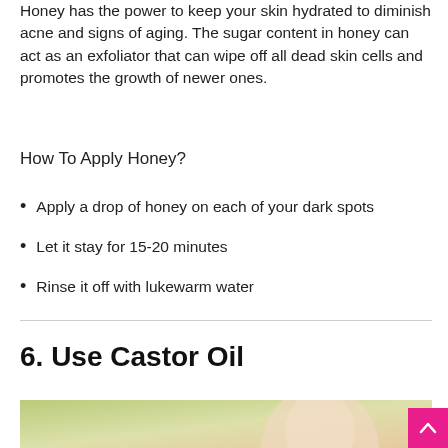Honey has the power to keep your skin hydrated to diminish acne and signs of aging. The sugar content in honey can act as an exfoliator that can wipe off all dead skin cells and promotes the growth of newer ones.
How To Apply Honey?
Apply a drop of honey on each of your dark spots
Let it stay for 15-20 minutes
Rinse it off with lukewarm water
6. Use Castor Oil
[Figure (photo): Photo of a woman's face, green and soft-toned background, related to castor oil skincare topic]